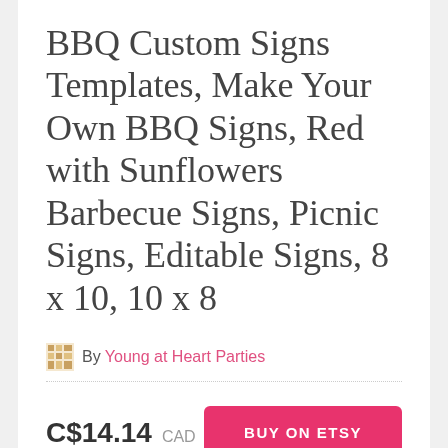BBQ Custom Signs Templates, Make Your Own BBQ Signs, Red with Sunflowers Barbecue Signs, Picnic Signs, Editable Signs, 8 x 10, 10 x 8
By Young at Heart Parties
C$14.14  CAD
BUY ON ETSY